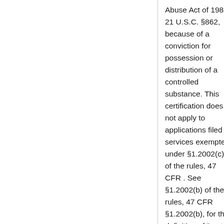Abuse Act of 1988, 21 U.S.C. §862, because of a conviction for possession or distribution of a controlled substance. This certification does not apply to applications filed in services exempted under §1.2002(c) of the rules, 47 CFR . See §1.2002(b) of the rules, 47 CFR §1.2002(b), for the definition of "party to the application" as used in this certification